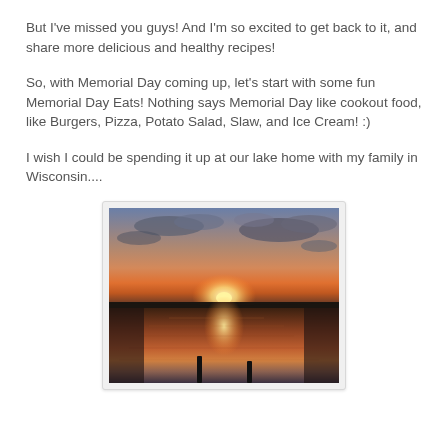But I've missed you guys! And I'm so excited to get back to it, and share more delicious and healthy recipes!
So, with Memorial Day coming up, let's start with some fun Memorial Day Eats! Nothing says Memorial Day like cookout food, like Burgers, Pizza, Potato Salad, Slaw, and Ice Cream! :)
I wish I could be spending it up at our lake home with my family in Wisconsin....
[Figure (photo): A lake sunset photo showing a calm lake with a glowing sunset on the horizon, two dock posts visible in the foreground, and clouds in the sky reflecting in the water.]